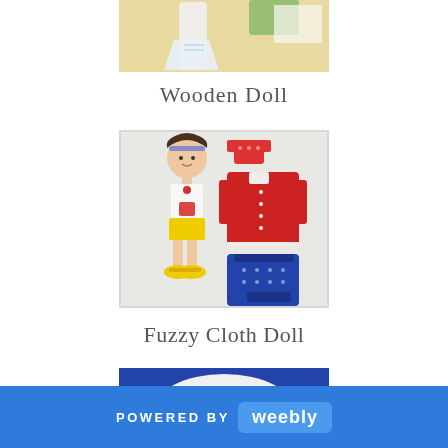[Figure (photo): Partial view of a wooden paper doll display on a yellowish background with white doll and clothing cutouts]
Wooden Doll
[Figure (photo): Paper doll set showing a girl figure in yellow shoes and underwear holding a bouquet, with red top, red coat, and blue dress cutouts on grey background]
Fuzzy Cloth Doll
[Figure (photo): Partially visible bottom portion of a third doll image with blue background]
POWERED BY weebly